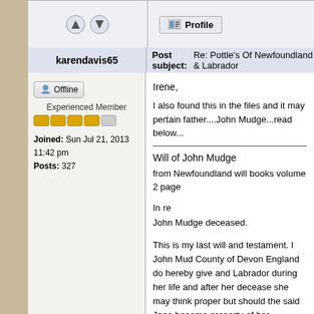[Figure (screenshot): Forum navigation arrows (up/down) and Profile button in top bar]
karendavis65
Post subject: Re: Pottle's Of Newfoundland & Labrador
[Figure (screenshot): Offline button with user icon]
Experienced Member
[Figure (other): Star rating: 4 gold stars and 1 gray star]
Joined: Sun Jul 21, 2013 11:42 pm
Posts: 327
Irene,
I also found this in the files and it may pertain father....John Mudge...read below...
Will of John Mudge
from Newfoundland will books volume 2 page
In re
John Mudge deceased.
This is my last will and testament. I John Mud County of Devon England do hereby give and Labrador during her life and after her decease she may think proper but should the said Jane become property of her daughter Jane Pottle each of us signed this twenty fourth day of Au Henry Curtis, George Goodridge, witness to s
Codicil, Be it known unto all men by these pre of Labrador formerly of Kingsteignton in the C date the twenty fourth day of August one th